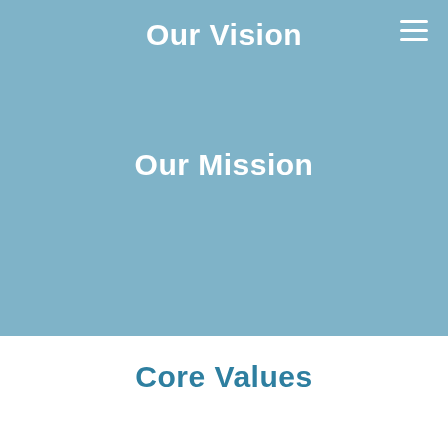Our Vision
Our Mission
Core Values